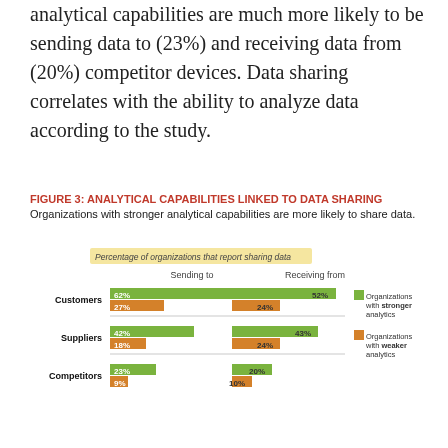analytical capabilities are much more likely to be sending data to (23%) and receiving data from (20%) competitor devices. Data sharing correlates with the ability to analyze data according to the study.
FIGURE 3: ANALYTICAL CAPABILITIES LINKED TO DATA SHARING Organizations with stronger analytical capabilities are more likely to share data.
[Figure (grouped-bar-chart): Percentage of organizations that report sharing data]